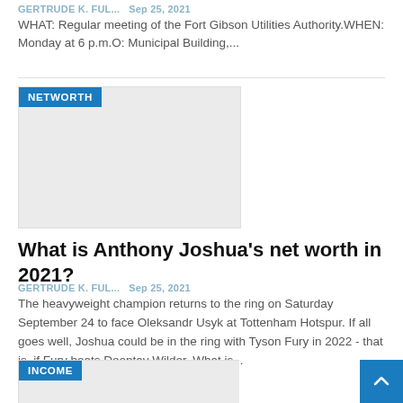GERTRUDE K. FUL...  Sep 25, 2021
WHAT: Regular meeting of the Fort Gibson Utilities Authority.WHEN: Monday at 6 p.m.O: Municipal Building,...
[Figure (photo): Image placeholder with NETWORTH badge]
What is Anthony Joshua's net worth in 2021?
GERTRUDE K. FUL...  Sep 25, 2021
The heavyweight champion returns to the ring on Saturday September 24 to face Oleksandr Usyk at Tottenham Hotspur. If all goes well, Joshua could be in the ring with Tyson Fury in 2022 - that is, if Fury beats Deontay Wilder. What is...
[Figure (photo): Image placeholder with INCOME badge]